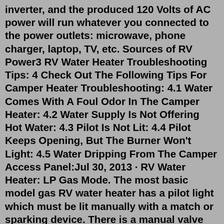inverter, and the produced 120 Volts of AC power will run whatever you connected to the power outlets: microwave, phone charger, laptop, TV, etc. Sources of RV Power3 RV Water Heater Troubleshooting Tips: 4 Check Out The Following Tips For Camper Heater Troubleshooting: 4.1 Water Comes With A Foul Odor In The Camper Heater: 4.2 Water Supply Is Not Offering Hot Water: 4.3 Pilot Is Not Lit: 4.4 Pilot Keeps Opening, But The Burner Won't Light: 4.5 Water Dripping From The Camper Access Panel:Jul 30, 2013 · RV Water Heater: LP Gas Mode. The most basic model gas RV water heater has a pilot light which must be lit manually with a match or sparking device. There is a manual valve that must be set to the “Pilot” position to light the pilot and then you move the valve to a Run position for continued operation. Once the pilot light is lit and the ... NEW ATWOOD RV WATER HEATER G6A-7 SIX GALLON LP GAS PILOT LIGHT . 6 Gallon Capacity; Pilot Ignition; Input 8,800 BTU; Cut Out Dimensions: 16″ Wide x 12.5″ High x 16 7/8″ Deep: This Atwood Water